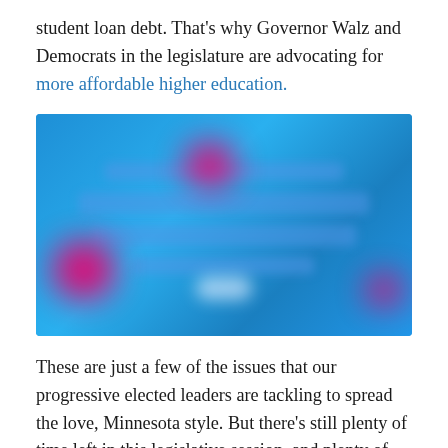student loan debt. That's why Governor Walz and Democrats in the legislature are advocating for more affordable higher education.
[Figure (photo): A blurred blue social media graphic or image with pink/magenta hotspot blobs overlaid at top-center-left, bottom-left, and bottom-right corners. The center contains blurred white/light text lines on a blue background.]
These are just a few of the issues that our progressive elected leaders are tackling to spread the love, Minnesota style. But there's still plenty of time left in this legislative session, and plenty of obstacles ahead. We have to work together to keep Minnesota progressive, and let our elected leaders know